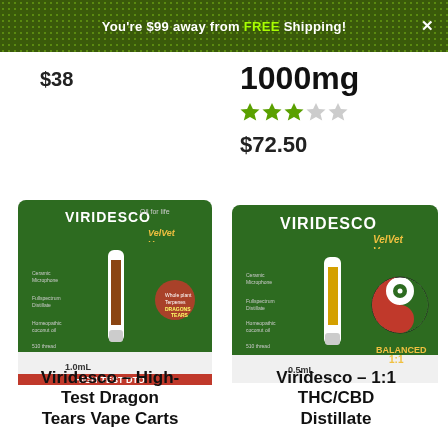You're $99 away from FREE Shipping!
$38
1000mg
★★★☆☆ (3 out of 5 stars)
$72.50
[Figure (photo): Viridesco VelVet Vapes High-Test DTO 1.0mL vape cartridge product packaging, dark green card with vape pen, labeled HIGH-TEST DTO]
[Figure (photo): Viridesco VelVet Vapes 1:1 Balanced THC/CBD Distillate 0.5mL vape cartridge product packaging, dark green card with vape pen and yin-yang symbol]
Viridesco – High-Test Dragon Tears Vape Carts
Viridesco – 1:1 THC/CBD Distillate